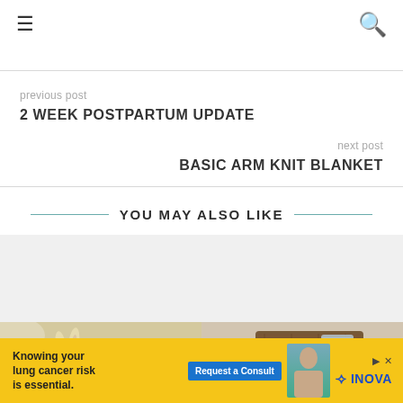≡  🔍
previous post
2 WEEK POSTPARTUM UPDATE
next post
BASIC ARM KNIT BLANKET
YOU MAY ALSO LIKE
[Figure (photo): Two side-by-side photos: left shows yarn/knitting crafts with a small bunny figure and a ball of yarn; right shows a wooden board with a glass jar.]
Knowing your lung cancer risk is essential. Request a Consult — INOVA